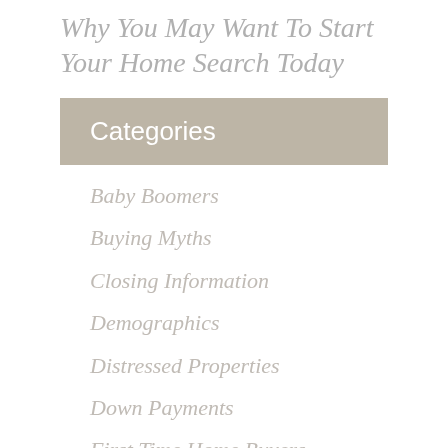Why You May Want To Start Your Home Search Today
Categories
Baby Boomers
Buying Myths
Closing Information
Demographics
Distressed Properties
Down Payments
First Time Home Buyers